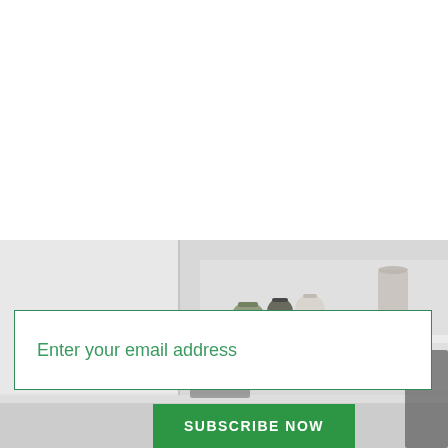[Figure (photo): Blurred kitchen background image showing white cabinets and shelving with various kitchen items such as teapots, bowls, and small appliances on shelves.]
Enter your email address
SUBSCRIBE NOW